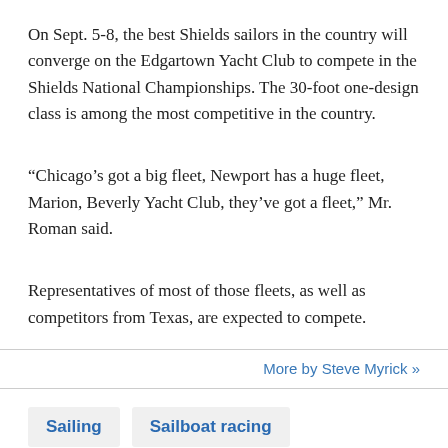On Sept. 5-8, the best Shields sailors in the country will converge on the Edgartown Yacht Club to compete in the Shields National Championships. The 30-foot one-design class is among the most competitive in the country.
“Chicago’s got a big fleet, Newport has a huge fleet, Marion, Beverly Yacht Club, they’ve got a fleet,” Mr. Roman said.
Representatives of most of those fleets, as well as competitors from Texas, are expected to compete.
More by Steve Myrick »
Sailing
Sailboat racing
Holmes Hole Sailing Association
Sail MV